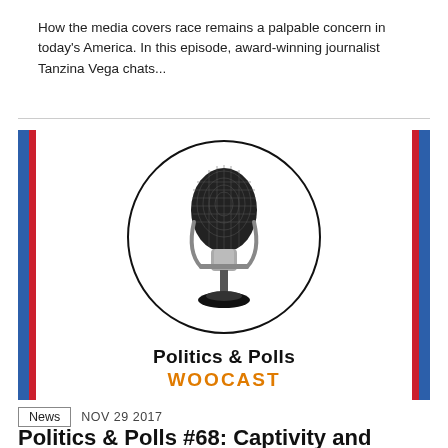How the media covers race remains a palpable concern in today's America. In this episode, award-winning journalist Tanzina Vega chats...
[Figure (logo): Politics & Polls WOOCAST podcast logo. A circular black outline containing a retro-style microphone illustration. Below the circle, black bold text reads 'Politics & Polls' and orange bold text reads 'WOOCAST'. Blue and red vertical stripes appear on the left and right edges of the image.]
News   NOV 29 2017
Politics & Polls #68: Captivity and